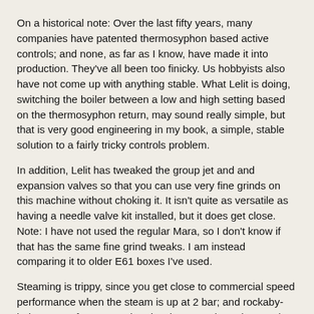On a historical note: Over the last fifty years, many companies have patented thermosyphon based active controls; and none, as far as I know, have made it into production. They've all been too finicky. Us hobbyists also have not come up with anything stable. What Lelit is doing, switching the boiler between a low and high setting based on the thermosyphon return, may sound really simple, but that is very good engineering in my book, a simple, stable solution to a fairly tricky controls problem.
In addition, Lelit has tweaked the group jet and and expansion valves so that you can use very fine grinds on this machine without choking it. It isn't quite as versatile as having a needle valve kit installed, but it does get close. Note: I have not used the regular Mara, so I don't know if that has the same fine grind tweaks. I am instead comparing it to older E61 boxes I've used.
Steaming is trippy, since you get close to commercial speed performance when the steam is up at 2 bar; and rockaby-baby-HX performance when it's down at 1 bar. There's also an initial warm up accelerator in the controls (similar to the Bianca), so if you catch it just right after start up, you'll see the steam up at 2.75 bar (!), and get a real rush on your cappa. (or a near heart attack the first time you see it, when you expect to get blown across room -- I'm sure the updated manual will clearly note this tweak)